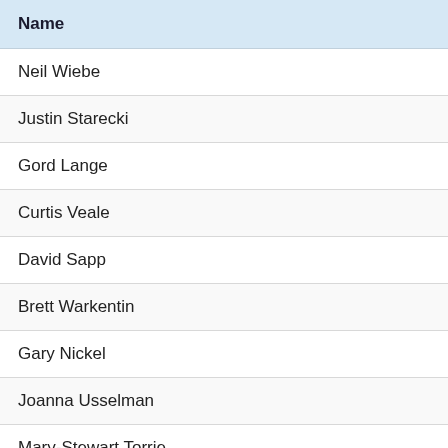| Name |
| --- |
| Neil Wiebe |
| Justin Starecki |
| Gord Lange |
| Curtis Veale |
| David Sapp |
| Brett Warkentin |
| Gary Nickel |
| Joanna Usselman |
| Mary-Stewart Torrie |
| Tayler Hemsing |
| Amy Andrew |